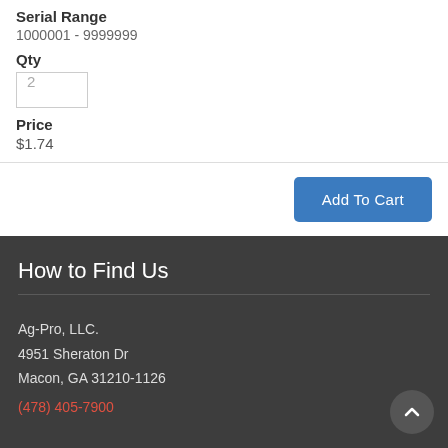Serial Range
1000001 - 9999999
Qty
2
Price
$1.74
Add To Cart
How to Find Us
Ag-Pro, LLC.
4951 Sheraton Dr
Macon, GA 31210-1126
(478) 405-7900